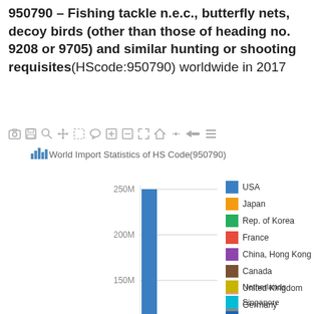950790 – Fishing tackle n.e.c., butterfly nets, decoy birds (other than those of heading no. 9208 or 9705) and similar hunting or shooting requisites(HScode:950790) worldwide in 2017
[Figure (bar-chart): Bar chart showing world import statistics for HS Code 950790. USA bar extends to ~250M. Other countries visible in legend: Japan, Rep. of Korea, France, China Hong Kong SAR, Canada, United Kingdom, Germany, Netherlands, Singapore, Australia. Y-axis shows 150M, 200M, 250M gridlines visible.]